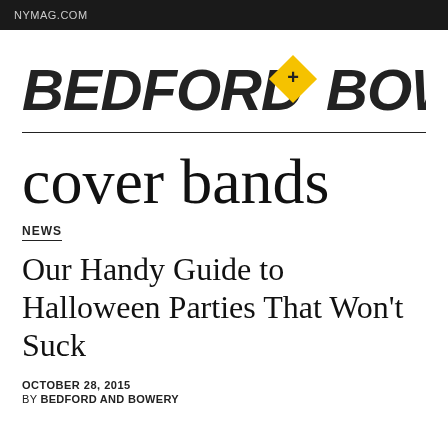NYMAG.COM
[Figure (logo): Bedford + Bowery logo with italic bold text and yellow diamond with plus sign in center]
cover bands
NEWS
Our Handy Guide to Halloween Parties That Won't Suck
OCTOBER 28, 2015
BY BEDFORD AND BOWERY